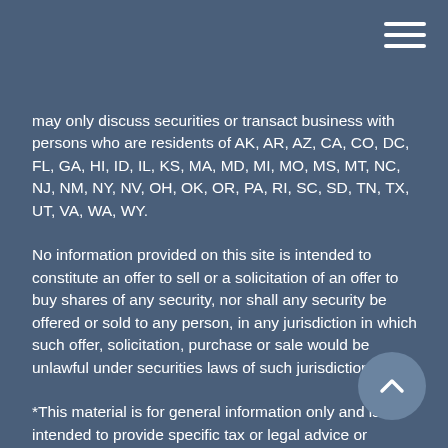may only discuss securities or transact business with persons who are residents of AK, AR, AZ, CA, CO, DC, FL, GA, HI, ID, IL, KS, MA, MD, MI, MO, MS, MT, NC, NJ, NM, NY, NV, OH, OK, OR, PA, RI, SC, SD, TN, TX, UT, VA, WA, WY.
No information provided on this site is intended to constitute an offer to sell or a solicitation of an offer to buy shares of any security, nor shall any security be offered or sold to any person, in any jurisdiction in which such offer, solicitation, purchase or sale would be unlawful under securities laws of such jurisdiction.
*This material is for general information only and is not intended to provide specific tax or legal advice or recommendations for any individual.